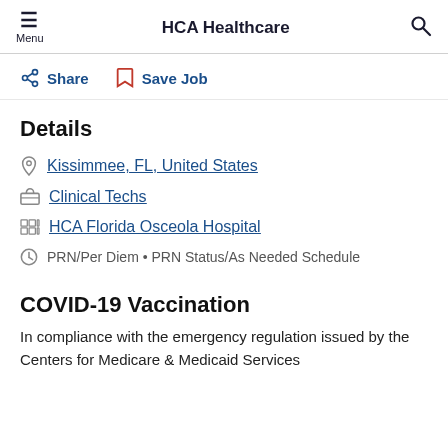Menu | HCA Healthcare | Search
Share   Save Job
Details
Kissimmee, FL, United States
Clinical Techs
HCA Florida Osceola Hospital
PRN/Per Diem • PRN Status/As Needed Schedule
COVID-19 Vaccination
In compliance with the emergency regulation issued by the Centers for Medicare & Medicaid Services